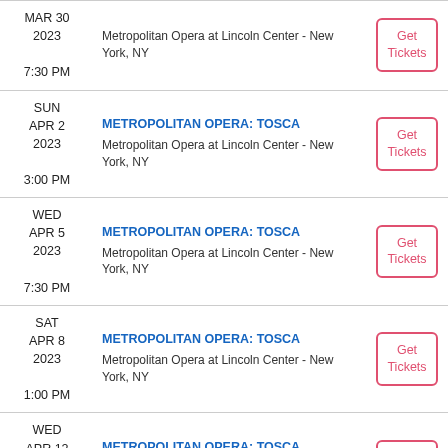| Date | Event | Action |
| --- | --- | --- |
| MAR 30
2023
7:30 PM | METROPOLITAN OPERA: TOSCA
Metropolitan Opera at Lincoln Center - New York, NY | Get Tickets |
| SUN
APR 2
2023
3:00 PM | METROPOLITAN OPERA: TOSCA
Metropolitan Opera at Lincoln Center - New York, NY | Get Tickets |
| WED
APR 5
2023
7:30 PM | METROPOLITAN OPERA: TOSCA
Metropolitan Opera at Lincoln Center - New York, NY | Get Tickets |
| SAT
APR 8
2023
1:00 PM | METROPOLITAN OPERA: TOSCA
Metropolitan Opera at Lincoln Center - New York, NY | Get Tickets |
| WED
APR 12
2023
7:30 PM | METROPOLITAN OPERA: TOSCA
Metropolitan Opera at Lincoln Center - New York, NY | Get Tickets |